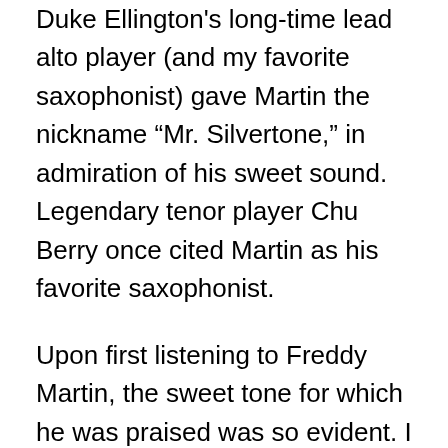Duke Ellington's long-time lead alto player (and my favorite saxophonist) gave Martin the nickname “Mr. Silvertone,” in admiration of his sweet sound. Legendary tenor player Chu Berry once cited Martin as his favorite saxophonist.
Upon first listening to Freddy Martin, the sweet tone for which he was praised was so evident. I am nostalgic for (if that is even possible, since I was not alive during this time) a return to the “sweet” sound of the swing era. The warm, lyrical quality of his playing is refreshing in comparison to the